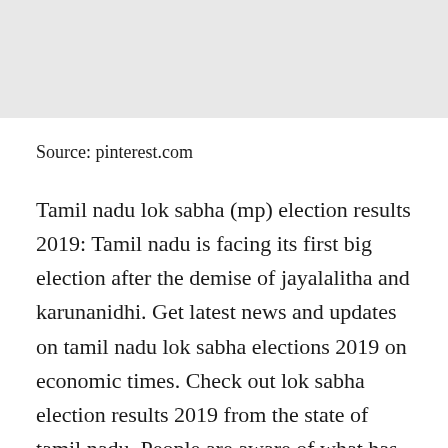[Figure (photo): Gray image placeholder at top of page]
Source: pinterest.com
Tamil nadu lok sabha (mp) election results 2019: Tamil nadu is facing its first big election after the demise of jayalalitha and karunanidhi. Get latest news and updates on tamil nadu lok sabha elections 2019 on economic times. Check out lok sabha election results 2019 from the state of tamil nadu. People are aware of what has been